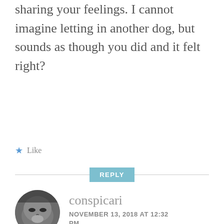sharing your feelings. I cannot imagine letting in another dog, but sounds as though you did and it felt right?
★ Like
REPLY
conspicari
NOVEMBER 13, 2018 AT 12:32 PM
Lovely post. When my Tomcat passed after 17 1/2 years with me it broke my heart, and I said that's it I'll never have